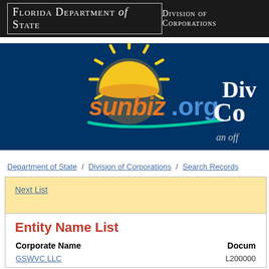Florida Department of State / Division of Corporations
[Figure (logo): Sunbiz.org Division of Corporations banner logo with sun graphic on dark blue background]
Department of State / Division of Corporations / Search Records
Next List
Entity Name List
| Corporate Name | Document Number |
| --- | --- |
| GSWVC LLC | L200000 |